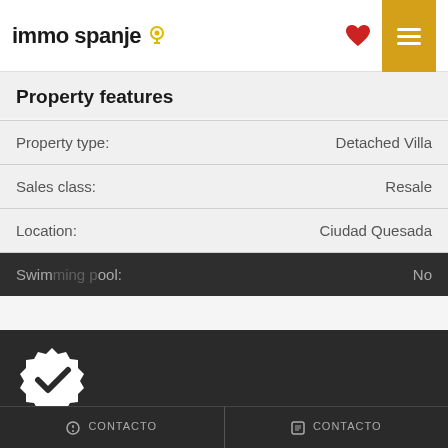immo spanje
Property features
| Feature | Value |
| --- | --- |
| Property type: | Detached Villa |
| Sales class: | Resale |
| Location: | Ciudad Quesada |
| Swimming pool: | No |
Immo Spanje uses cookies to give you a better experience
More info.
ACCEPTAR